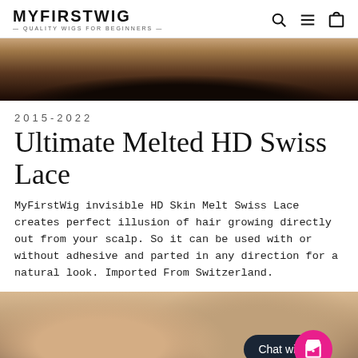MYFIRSTWIG — QUALITY WIGS FOR BEGINNERS —
[Figure (photo): Close-up top view of dark hair on a person's scalp, showing hair growing from the scalp, dark brown/black tones]
2015-2022
Ultimate Melted HD Swiss Lace
MyFirstWig invisible HD Skin Melt Swiss Lace creates perfect illusion of hair growing directly out from your scalp. So it can be used with or without adhesive and parted in any direction for a natural look. Imported From Switzerland.
[Figure (photo): Photo of a woman wearing a wig, adjusting it with her hands, warm skin tones, with a chat widget overlay showing 'Chat wit' and a pink shopping bag icon]